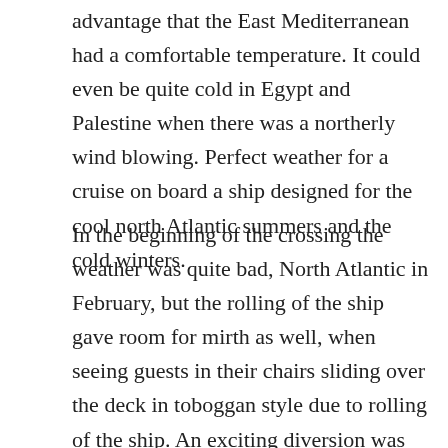advantage that the East Mediterranean had a comfortable temperature. It could even be quite cold in Egypt and Palestine when there was a northerly wind blowing. Perfect weather for a cruise on board a ship designed for the cool north Atlantic summers and the cold winters.
In the beginning of the crossing the weather was quite bad, North Atlantic in February, but the rolling of the ship gave room for mirth as well, when seeing guests in their chairs sliding over the deck in toboggan style due to rolling of the ship. An exciting diversion was the birth of a baby boy among the Italian emigrants in the 3rd class who were returning home. A $ 50 purse was raised and the first class ladies embarked on a project to sew and embroider clothing for the little chap. After nine days at sea the ship reached Gibraltar where a shore